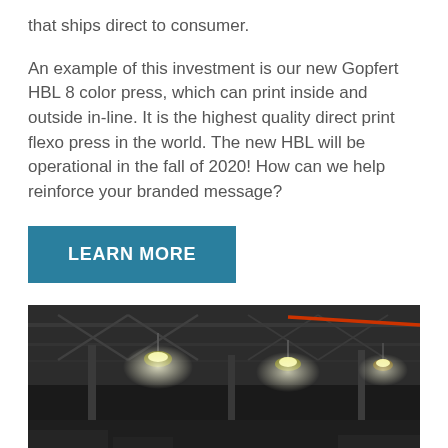that ships direct to consumer.
An example of this investment is our new Gopfert HBL 8 color press, which can print inside and outside in-line. It is the highest quality direct print flexo press in the world. The new HBL will be operational in the fall of 2020! How can we help reinforce your branded message?
LEARN MORE
[Figure (photo): Interior of a large industrial warehouse or manufacturing facility with steel roof trusses, overhead lighting fixtures, and structural columns visible, viewed from ground level looking upward.]